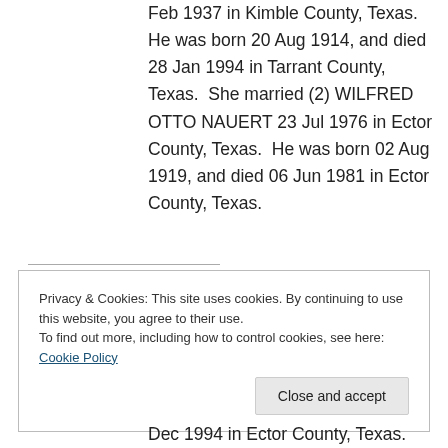Feb 1937 in Kimble County, Texas. He was born 20 Aug 1914, and died 28 Jan 1994 in Tarrant County, Texas.  She married (2) WILFRED OTTO NAUERT 23 Jul 1976 in Ector County, Texas.  He was born 02 Aug 1919, and died 06 Jun 1981 in Ector County, Texas.
Privacy & Cookies: This site uses cookies. By continuing to use this website, you agree to their use.
To find out more, including how to control cookies, see here: Cookie Policy
Dec 1994 in Ector County, Texas.